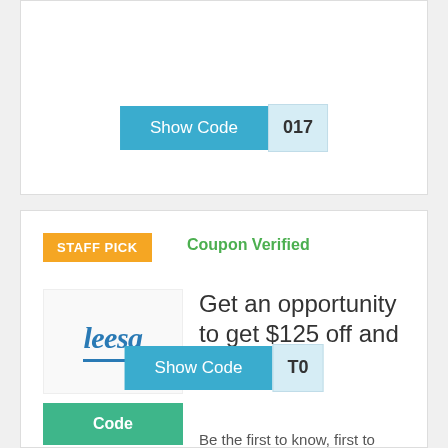[Figure (other): Show Code button with partial code suffix '017' on teal background]
[Figure (other): Staff Pick coupon card for Leesa with logo, Code button, offer text, and Show Code button]
STAFF PICK
Coupon Verified
Get an opportunity to get $125 off and
Be the first to know, first to shop, and first to save 30% off sitewide!
Code